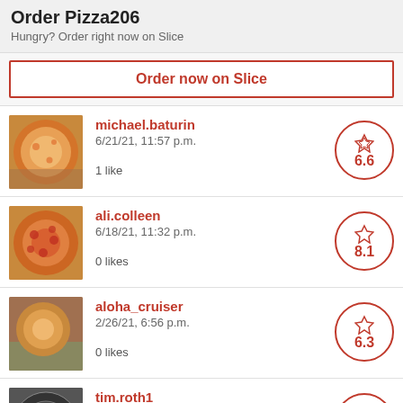Order Pizza206
Hungry? Order right now on Slice
Order now on Slice
michael.baturin | 6/21/21, 11:57 p.m. | 1 like | Score: 6.6
ali.colleen | 6/18/21, 11:32 p.m. | 0 likes | Score: 8.1
aloha_cruiser | 2/26/21, 6:56 p.m. | 0 likes | Score: 6.3
tim.roth1 | 1/23/21, 1:28 a.m. | Score: 5.0